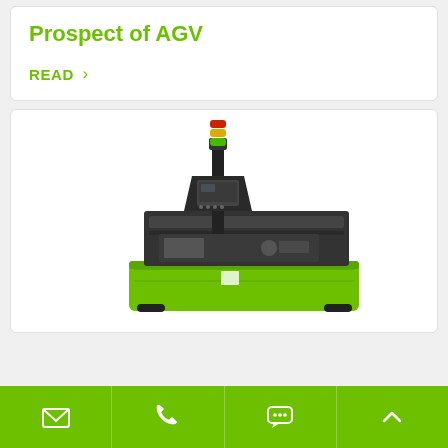Prospect of AGV
READ >
[Figure (photo): An AGV (Automated Guided Vehicle) robot with a green body, black frame/mast structure, a control panel with a small screen, and a tri-color signal tower (red, yellow, green) on top.]
Footer navigation bar with email, phone, chat, and scroll-to-top icons